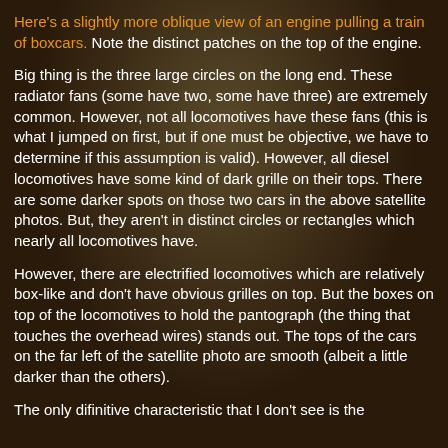Here's a slightly more oblique view of an engine pulling a train of boxcars. Note the distinct patches on the top of the engine.
Big thing is the three large circles on the long end. These radiator fans (some have two, some have three) are extremely common. However, not all locomotives have these fans (this is what I jumped on first, but if one must be objective, we have to determine if this assumption is valid). However, all diesel locomotives have some kind of dark grille on their tops. There are some darker spots on those two cars in the above satellite photos. But, they aren't in distinct circles or rectangles which nearly all locomotives have.
However, there are electrified locomotives which are relatively box-like and don't have obvious grilles on top. But the boxes on top of the locomotives to hold the pantograph (the thing that touches the overhead wires) stands out. The tops of the cars on the far left of the satellite photo are smooth (albeit a little darker than the others).
The only difinitive characteristic that I don't see is the